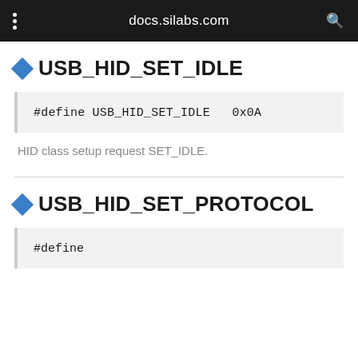docs.silabs.com
USB_HID_SET_IDLE
#define USB_HID_SET_IDLE   0x0A
HID class setup request SET_IDLE.
USB_HID_SET_PROTOCOL
#define